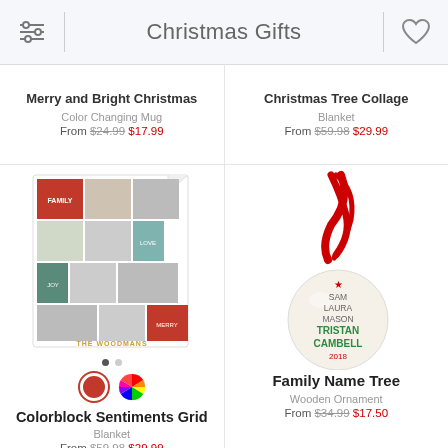Christmas Gifts
Merry and Bright Christmas
Color Changing Mug
From $24.99 $17.99
Christmas Tree Collage
Blanket
From $59.98 $29.99
[Figure (photo): Colorblock Sentiments Grid blanket product photo with family photos in grid layout]
Colorblock Sentiments Grid
Blanket
From $59.98 $29.99
[Figure (photo): Family Name Tree wooden ornament with red ribbon, showing family names: Sam, Laura, Mason, Tristan, Cambell, 2018]
Family Name Tree
Wooden Ornament
From $34.99 $17.50